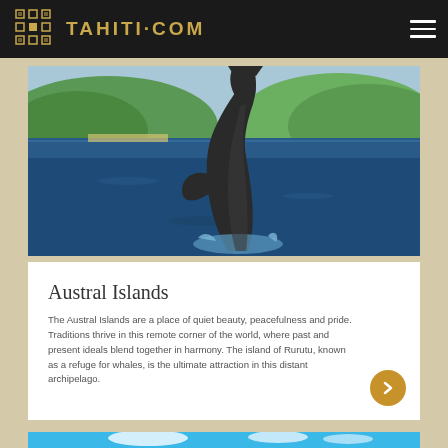TAHITI·COM
[Figure (photo): Humpback whale breaching out of the ocean near a green tropical island coastline. The whale is mid-leap showing its full body against a blue sky and ocean.]
Austral Islands
The Austral Islands are a place of quiet beauty, peacefulness and pride. Traditions thrive in this remote corner of the world, where past and present ideals blend together in harmony. The island of Rurutu, known as a refuge for whales, is the ultimate attraction in this distant archipelago.
[Figure (photo): Partial view of a tropical island scene with blue sky and clouds, visible at the bottom of the page.]